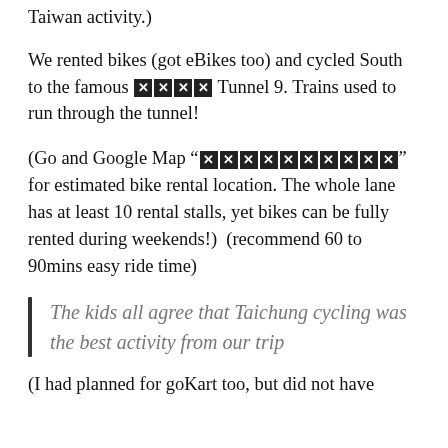Taiwan activity.)
We rented bikes (got eBikes too) and cycled South to the famous [emoji] Tunnel 9. Trains used to run through the tunnel!
(Go and Google Map “[emoji]” for estimated bike rental location. The whole lane has at least 10 rental stalls, yet bikes can be fully rented during weekends!)  (recommend 60 to 90mins easy ride time)
The kids all agree that Taichung cycling was the best activity from our trip
(I had planned for goKart too, but did not have